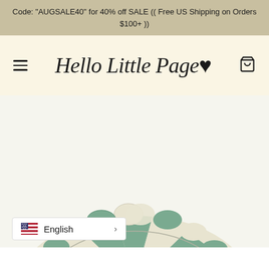Code: "AUGSALE40" for 40% off SALE (( Free US Shipping on Orders $100+ ))
Hello Little Page♥
[Figure (photo): An inflatable round play mat/ball pit for babies, with alternating sage green and cream/white scalloped bumper sections around the edge, and a sunburst stripe pattern of green and cream on the floor. Viewed from slightly above.]
English >